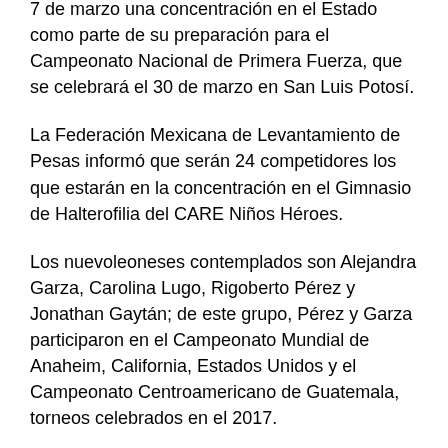7 de marzo una concentración en el Estado como parte de su preparación para el Campeonato Nacional de Primera Fuerza, que se celebrará el 30 de marzo en San Luis Potosí.
La Federación Mexicana de Levantamiento de Pesas informó que serán 24 competidores los que estarán en la concentración en el Gimnasio de Halterofilia del CARE Niños Héroes.
Los nuevoleoneses contemplados son Alejandra Garza, Carolina Lugo, Rigoberto Pérez y Jonathan Gaytán; de este grupo, Pérez y Garza participaron en el Campeonato Mundial de Anaheim, California, Estados Unidos y el Campeonato Centroamericano de Guatemala, torneos celebrados en el 2017.
El objetivo de la concentración es complementar los entrenamientos previos al Nacional de Primera Fuerza, que se realizará el 30 de marzo en San Luis Potosí, donde se confirmará a la